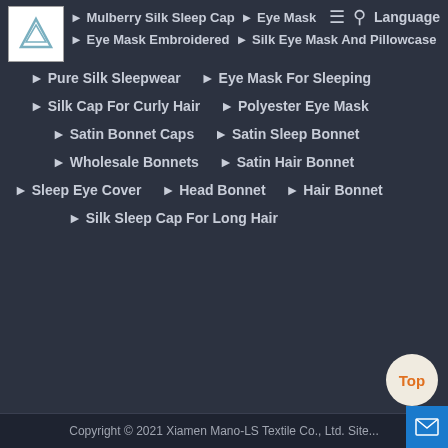[Figure (logo): Triangle logo in white box]
Mulberry Silk Sleep Cap
Eye Mask
Eye Mask Embroidered
Silk Eye Mask And Pillowcase
Pure Silk Sleepwear
Eye Mask For Sleeping
Silk Cap For Curly Hair
Polyester Eye Mask
Satin Bonnet Caps
Satin Sleep Bonnet
Wholesale Bonnets
Satin Hair Bonnet
Sleep Eye Cover
Head Bonnet
Hair Bonnet
Silk Sleep Cap For Long Hair
Copyright © 2021 Xiamen Mano-LS Textile Co., Ltd. Site...